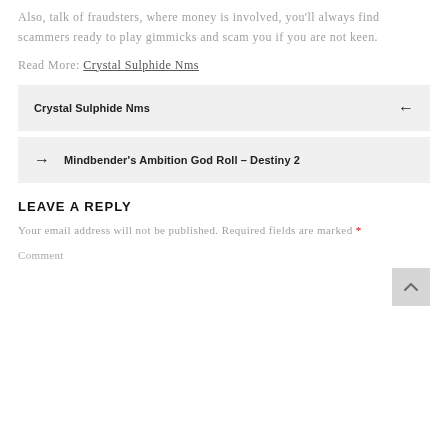Also, talk of fraudsters, where money is involved, you'll always find scammers ready to play gimmicks and scam you if you are not keen.
Read More: Crystal Sulphide Nms
Crystal Sulphide Nms ←
→ Mindbender's Ambition God Roll – Destiny 2
LEAVE A REPLY
Your email address will not be published. Required fields are marked *
Comment